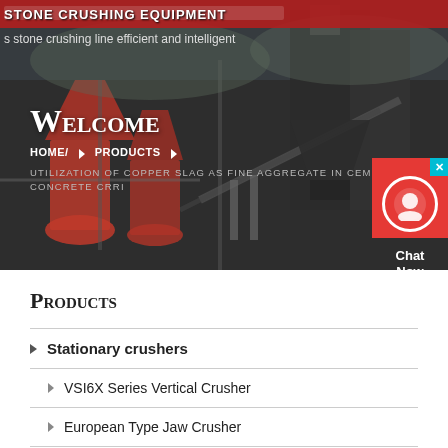[Figure (photo): Industrial stone crushing equipment facility with large machinery, silos, and conveyor belts against a darkened background overlay]
Welcome
HOME/ ▶ PRODUCTS ▶
UTILIZATION OF COPPER SLAG AS FINE AGGREGATE IN CEMENT CONCRETE CRRI
Products
Stationary crushers
VSI6X Series Vertical Crusher
European Type Jaw Crusher
European Impact Crusher